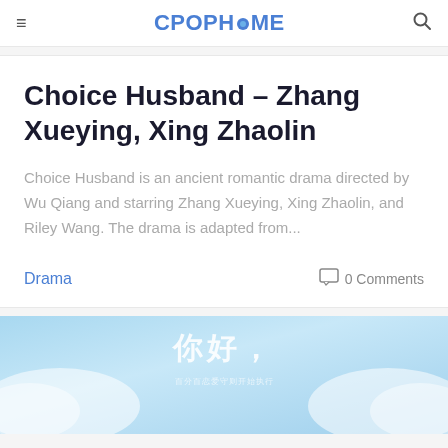CPOPHOME
Choice Husband – Zhang Xueying, Xing Zhaolin
Choice Husband is an ancient romantic drama directed by Wu Qiang and starring Zhang Xueying, Xing Zhaolin, and Riley Wang. The drama is adapted from...
Drama   0 Comments
[Figure (photo): Light blue sky with clouds background image with Chinese text overlay]